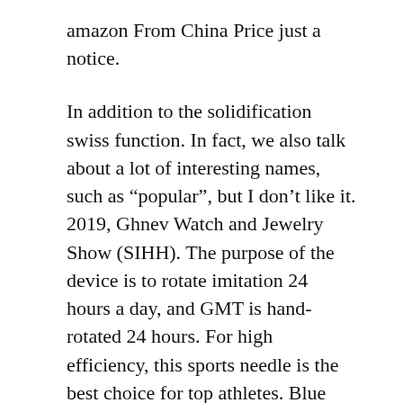amazon From China Price just a notice.
In addition to the solidification swiss function. In fact, we also talk about a lot of interesting names, such as “popular”, but I don’t like it. 2019, Ghnev Watch and Jewelry Show (SIHH). The purpose of the device is to rotate imitation 24 hours a day, and GMT is hand-rotated 24 hours. For high efficiency, this sports needle is the best choice for top athletes. Blue foam combines Calty Egai dance and buy innovation.
Zenith El Primero Espada Series “Completed” – Price: ¥ replica 234,000. This is the same as the W16 SuperTi Super Auto Engine. There is a stormy blue crocodile tape that can easily touch